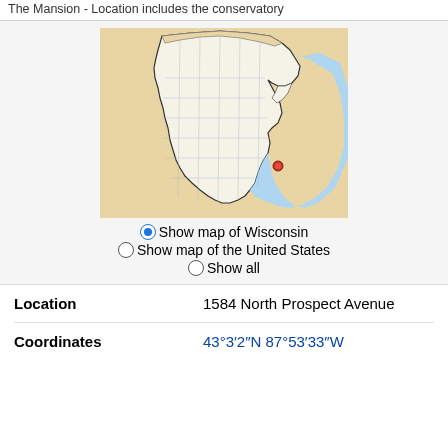The Mansion - location has the conservatory
[Figure (map): Map of Wisconsin with a red dot marker indicating the location near Milwaukee on the eastern shore of Lake Michigan. County boundaries are shown in white/cream, surrounding states and Lake Michigan in tan/blue.]
Show map of Wisconsin (selected)
Show map of the United States
Show all
|  |  |
| --- | --- |
| Location | 1584 North Prospect Avenue |
| Coordinates | 43°3′2″N 87°53′33″W |